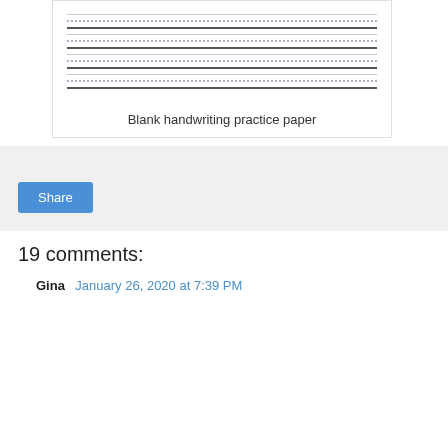[Figure (illustration): Blank handwriting practice paper showing alternating solid dark, solid light, and dotted lines arranged in rows for handwriting practice.]
Blank handwriting practice paper
Share
19 comments:
Gina  January 26, 2020 at 7:39 PM